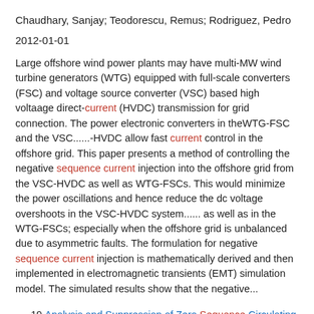Chaudhary, Sanjay; Teodorescu, Remus; Rodriguez, Pedro
2012-01-01
Large offshore wind power plants may have multi-MW wind turbine generators (WTG) equipped with full-scale converters (FSC) and voltage source converter (VSC) based high voltaage direct-current (HVDC) transmission for grid connection. The power electronic converters in theWTG-FSC and the VSC......-HVDC allow fast current control in the offshore grid. This paper presents a method of controlling the negative sequence current injection into the offshore grid from the VSC-HVDC as well as WTG-FSCs. This would minimize the power oscillations and hence reduce the dc voltage overshoots in the VSC-HVDC system...... as well as in the WTG-FSCs; especially when the offshore grid is unbalanced due to asymmetric faults. The formulation for negative sequence current injection is mathematically derived and then implemented in electromagnetic transients (EMT) simulation model. The simulated results show that the negative...
19. Analysis and Suppression of Zero Sequence Circulating Current in Open Winding PMSM Drives With Common DC Bus